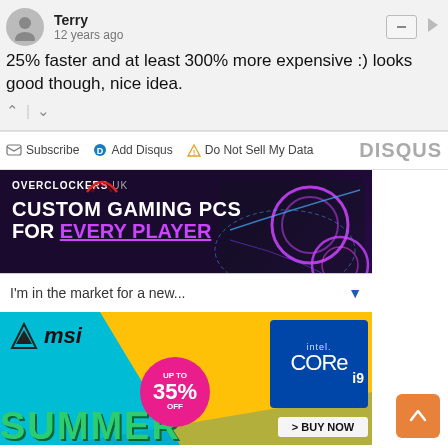Terry
12 years ago
25% faster and at least 300% more expensive :) looks good though, nice idea.
[Figure (screenshot): Disqus comment footer with Subscribe, Add Disqus, Do Not Sell My Data links and DISQUS logo]
[Figure (screenshot): Overclockers UK ad: Custom Gaming PCs for Every Player with a gaming PC image and dropdown 'I'm in the market for a new...']
[Figure (screenshot): MSI Summer Sale ad with Intel Core i9 badge and Up to 35% Off promotion]